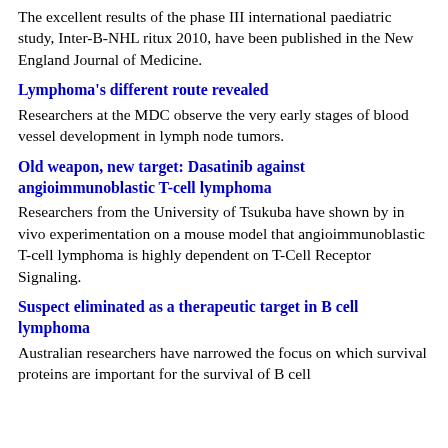The excellent results of the phase III international paediatric study, Inter-B-NHL ritux 2010, have been published in the New England Journal of Medicine.
Lymphoma's different route revealed
Researchers at the MDC observe the very early stages of blood vessel development in lymph node tumors.
Old weapon, new target: Dasatinib against angioimmunoblastic T-cell lymphoma
Researchers from the University of Tsukuba have shown by in vivo experimentation on a mouse model that angioimmunoblastic T-cell lymphoma is highly dependent on T-Cell Receptor Signaling.
Suspect eliminated as a therapeutic target in B cell lymphoma
Australian researchers have narrowed the focus on which survival proteins are important for the survival of B cell